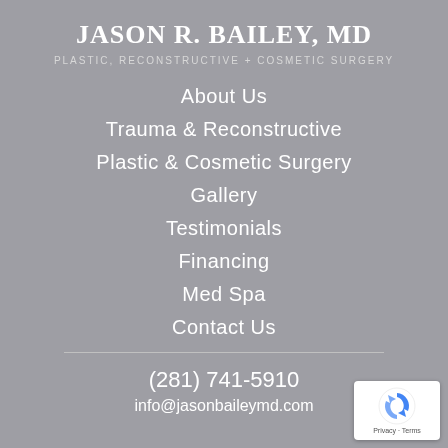JASON R. BAILEY, MD
PLASTIC, RECONSTRUCTIVE + COSMETIC SURGERY
About Us
Trauma & Reconstructive
Plastic & Cosmetic Surgery
Gallery
Testimonials
Financing
Med Spa
Contact Us
(281) 741-5910
info@jasonbaileymd.com
[Figure (logo): reCAPTCHA badge with Privacy and Terms text]